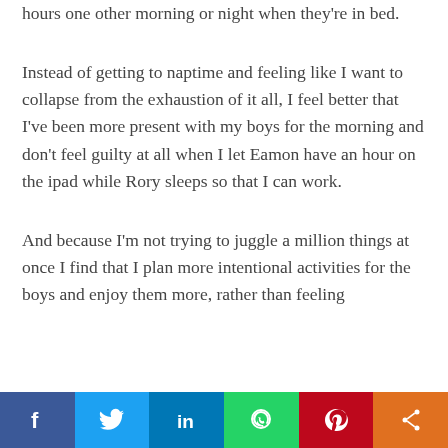hours one other morning or night when they're in bed.
Instead of getting to naptime and feeling like I want to collapse from the exhaustion of it all, I feel better that I've been more present with my boys for the morning and don't feel guilty at all when I let Eamon have an hour on the ipad while Rory sleeps so that I can work.
And because I'm not trying to juggle a million things at once I find that I plan more intentional activities for the boys and enjoy them more, rather than feeling
Social share bar: Facebook, Twitter, LinkedIn, WhatsApp, Pinterest, Share